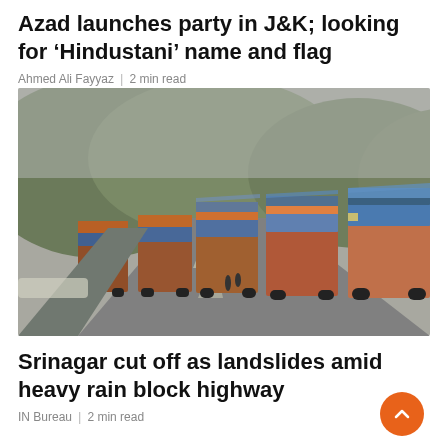Azad launches party in J&K; looking for 'Hindustani' name and flag
Ahmed Ali Fayyaz | 2 min read
[Figure (photo): A long queue of colorful trucks carrying goods loaded on top with tarpaulins parked on a highway with hills and trees in the background.]
Srinagar cut off as landslides amid heavy rain block highway
IN Bureau | 2 min read